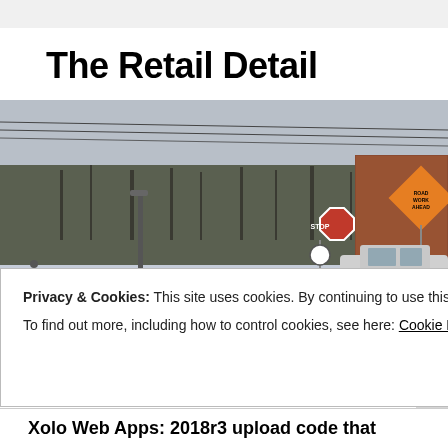The Retail Detail
[Figure (photo): Snowy winter outdoor scene showing a road intersection with a red STOP sign, an orange diamond-shaped construction warning sign, bare trees in the background, power lines overhead, and a white pickup truck on the right side near a brick building.]
Privacy & Cookies: This site uses cookies. By continuing to use this website, you agree to their use.
To find out more, including how to control cookies, see here: Cookie Policy
Close and accept
Xolo Web Apps: 2018r3 upload code that